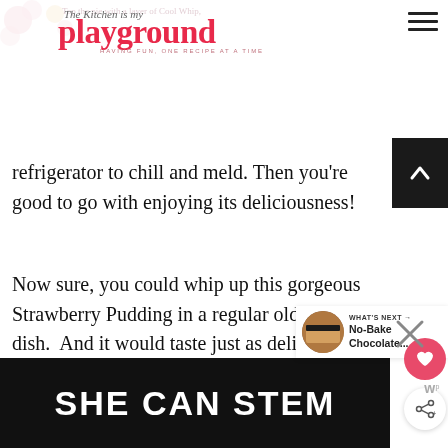The Kitchen is my Playground — HAVING FUN, ONE RECIPE AT A TIME
refrigerator to chill and meld. Then you're good to go with enjoying its deliciousness!
Now sure, you could whip up this gorgeous Strawberry Pudding in a regular old 9x13" dish.  And it would taste just as delicious as it does in a fancy-schmancy glass bowl. But it's just so darn pretty in a fancy-schmancy glass bowl, don't you think?
[Figure (other): SHE CAN STEM advertisement banner, dark background with bold white text]
[Figure (other): What's Next panel with thumbnail of No-Bake Chocolate dessert]